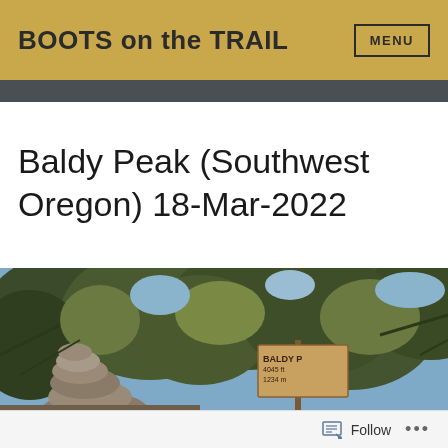BOOTS on the TRAIL
Baldy Peak (Southwest Oregon) 18-Mar-2022
[Figure (photo): Outdoor trail photo showing a rocky cairn and trees with a handwritten wooden sign reading 'BALDY PK' with elevation information, surrounded by dense foliage and blue sky]
Follow